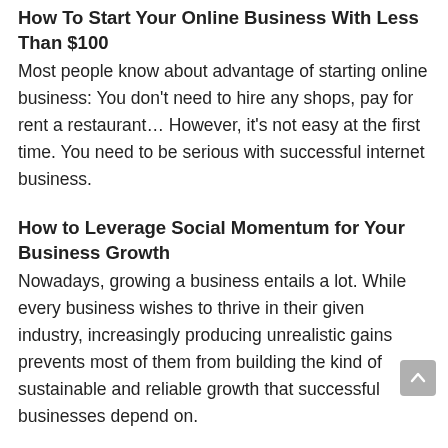How To Start Your Online Business With Less Than $100
Most people know about advantage of starting online business: You don't need to hire any shops, pay for rent a restaurant... However, it's not easy at the first time. You need to be serious with successful internet business.
How to Leverage Social Momentum for Your Business Growth
Nowadays, growing a business entails a lot. While every business wishes to thrive in their given industry, increasingly producing unrealistic gains prevents most of them from building the kind of sustainable and reliable growth that successful businesses depend on.
5 Incredible Digital Marketing Tactics for Online Startups
Many clients often come to me looking for effective digital marketing tactics for their online startups. Most of them are